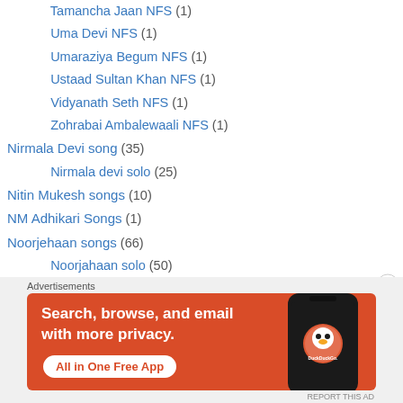Tamancha Jaan NFS (1)
Uma Devi NFS (1)
Umaraziya Begum NFS (1)
Ustaad Sultan Khan NFS (1)
Vidyanath Seth NFS (1)
Zohrabai Ambalewaali NFS (1)
Nirmala Devi song (35)
Nirmala devi solo (25)
Nitin Mukesh songs (10)
NM Adhikari Songs (1)
Noorjehaan songs (66)
Noorjahaan solo (50)
Nostalgic song (73)
Number song (11)
[Figure (screenshot): DuckDuckGo advertisement banner: orange background with text 'Search, browse, and email with more privacy. All in One Free App' and a phone image showing DuckDuckGo logo]